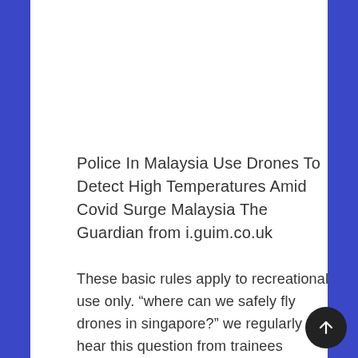Police In Malaysia Use Drones To Detect High Temperatures Amid Covid Surge Malaysia The Guardian from i.guim.co.uk
These basic rules apply to recreational use only. “where can we safely fly drones in singapore?” we regularly hear this question from trainees undergoing our academy courses, local drone . Do not use your drone to carry explosive or hazardous materials. A permit is not required to fly a drone that weighs 7 kilograms (15 pounds) or